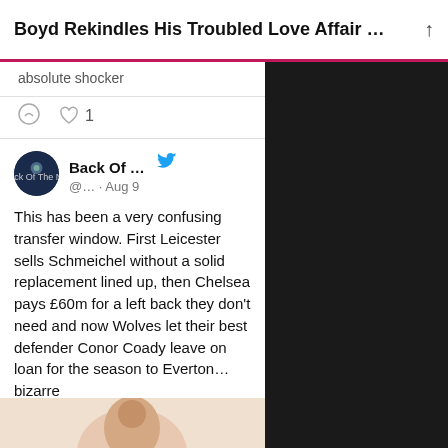Boyd Rekindles His Troubled Love Affair …
absolute shocker
♡ 1
Back Of … @… · Aug 9
This has been a very confusing transfer window. First Leicester sells Schmeichel without a solid replacement lined up, then Chelsea pays £60m for a left back they don't need and now Wolves let their best defender Conor Coady leave on loan for the season to Everton… bizarre
[Figure (photo): Partial photo at bottom of page showing person]